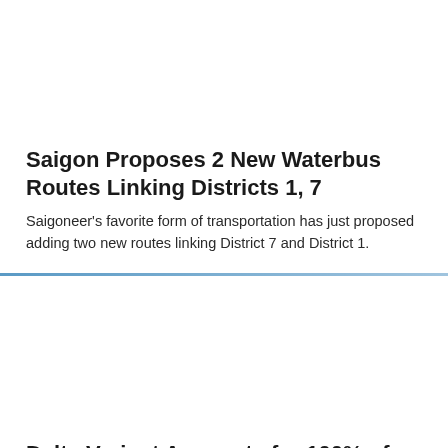[Figure (photo): Image placeholder for waterbus article]
Saigon Proposes 2 New Waterbus Routes Linking Districts 1, 7
Saigoneer's favorite form of transportation has just proposed adding two new routes linking District 7 and District 1.
[Figure (photo): Image placeholder for Delta Variant article]
Delta Variant Accounts for 100% of Cases